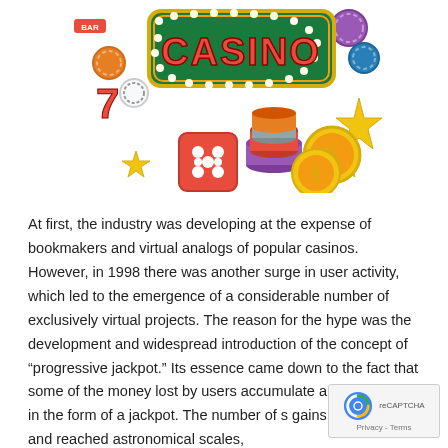[Figure (illustration): Casino themed illustration showing a green illuminated CASINO sign with lights, poker chips in various colors, red dice, gold coins with dollar signs, slot machine sevens, yellow stars, and playing card chip decorations.]
At first, the industry was developing at the expense of bookmakers and virtual analogs of popular casinos. However, in 1998 there was another surge in user activity, which led to the emergence of a considerable number of exclusively virtual projects. The reason for the hype was the development and widespread introduction of the concept of "progressive jackpot." Its essence came down to the fact that some of the money lost by users accumulated and was issued in the form of a jackpot. The number of gains proliferated and reached astronomical scales,